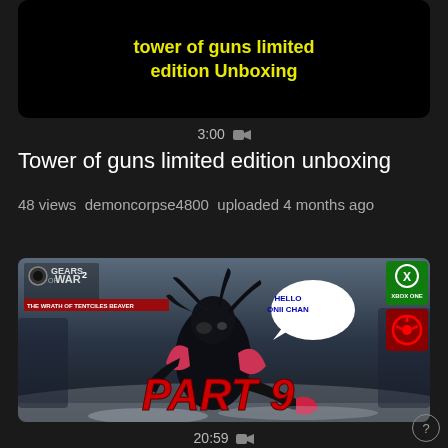[Figure (screenshot): Dark/black video thumbnail with yellow bold text 'tower of guns limited edition Unboxing']
3:00 🎥
Tower of guns limited edition unboxing
48 views  demoncorpse4800  uploaded 4 months ago
[Figure (screenshot): Video thumbnail showing Gears of War 2: The Wrath of Tentciles Beaver game screenshot with dark figure character, speech bubble saying HELLO ONII CHAN, PART 9 text in red, Xbox One badge, and red skull badge]
20:59 🎥